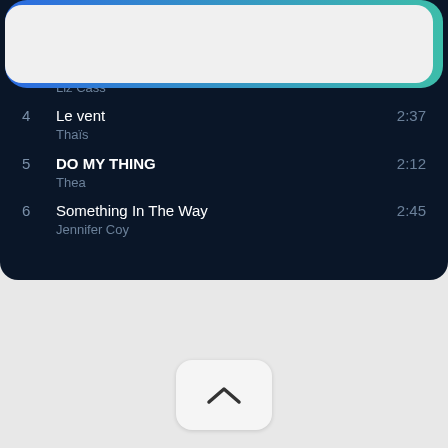2  Not Picking Up  2:41
Maja
3  Near Miss  2:44
Liz Cass
4  Le vent  2:37
Thaïs
5  DO MY THING  2:12
Thea
6  Something In The Way  2:45
Jennifer Coy
[Figure (screenshot): Bottom UI panel with gradient border (blue to teal) and a chevron-up button]